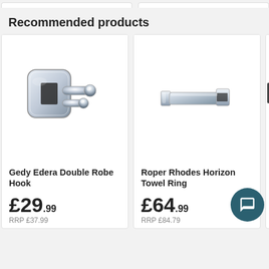Recommended products
[Figure (photo): Chrome double robe hook (Gedy Edera Double Robe Hook) on white background]
Gedy Edera Double Robe Hook
£29.99
RRP £37.99
[Figure (photo): Chrome towel ring (Roper Rhodes Horizon Towel Ring) on white background]
Roper Rhodes Horizon Towel Ring
£64.99
RRP £84.79
[Figure (photo): Partial view of a black bathroom accessory (partially cropped, third product card)]
Harb Black
£74...